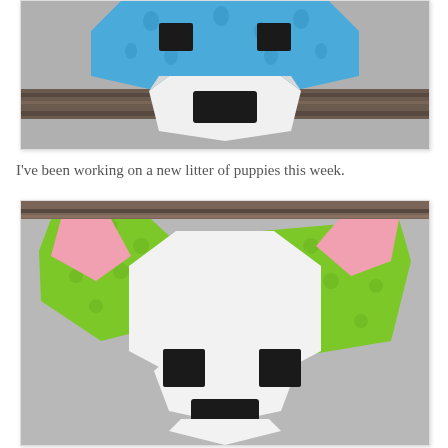[Figure (photo): A quilt block puppy face made with blue raindrop-patterned fabric for the head/ears, white fabric for the muzzle area, and black rectangles for eyes and nose, displayed on a gray felt background.]
I've been working on a new litter of puppies this week.
[Figure (photo): A quilt block puppy face made with green polka-dot fabric for ear and cheek patches, white fabric for the face and muzzle, pink fabric for inner ears, and black squares for eyes and a black rectangle for the nose, displayed on a gray felt background.]